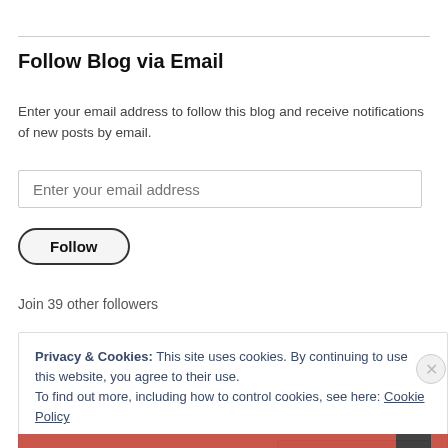Follow Blog via Email
Enter your email address to follow this blog and receive notifications of new posts by email.
[Figure (screenshot): Email input field with placeholder text 'Enter your email address']
[Figure (screenshot): Follow button with rounded border]
Join 39 other followers
Privacy & Cookies: This site uses cookies. By continuing to use this website, you agree to their use.
To find out more, including how to control cookies, see here: Cookie Policy
Close and accept